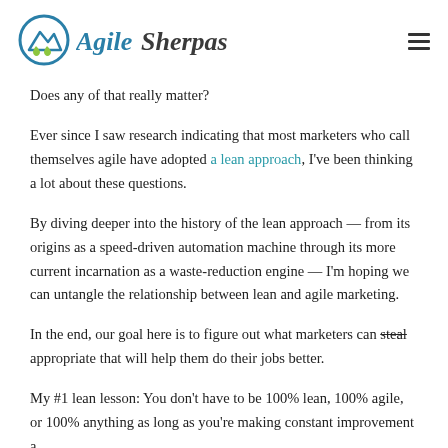AgileSherpas
Does any of that really matter?
Ever since I saw research indicating that most marketers who call themselves agile have adopted a lean approach, I've been thinking a lot about these questions.
By diving deeper into the history of the lean approach — from its origins as a speed-driven automation machine through its more current incarnation as a waste-reduction engine — I'm hoping we can untangle the relationship between lean and agile marketing.
In the end, our goal here is to figure out what marketers can steal appropriate that will help them do their jobs better.
My #1 lean lesson: You don't have to be 100% lean, 100% agile, or 100% anything as long as you're making constant improvement a